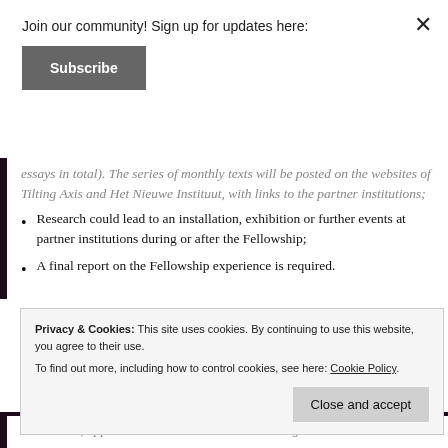Join our community! Sign up for updates here:
Subscribe
essays in total). The series of monthly texts will be posted on the websites of Tilting Axis and Het Nieuwe Instituut, with links to the partner institutions;
Research could lead to an installation, exhibition or further events at partner institutions during or after the Fellowship;
A final report on the Fellowship experience is required.
Privacy & Cookies: This site uses cookies. By continuing to use this website, you agree to their use. To find out more, including how to control cookies, see here: Cookie Policy
Close and accept
In addition, applications should be submitted along...